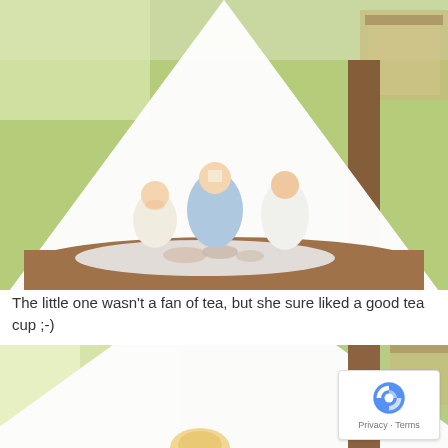[Figure (photo): Three young girls having a tea party outdoors under a large white teepee/canopy tent next to a tree. A baby in white sits on the left, an older girl in a light blue dress sits in the middle touching her hat, and another girl in white sits on the right. They are on a white lace blanket with tea set items in front of them. Mulch ground, green grass background, a gazebo/pavilion visible in the top right. Watermark reads 'Baby' in cursive script.]
The little one wasn't a fan of tea, but she sure liked a good tea cup ;-)
[Figure (photo): Partial view of the same outdoor teepee/canopy scene. The large white fabric tent dominates the left and center, with the tree trunk on the right and the gazebo visible in the top right corner. A child with blonde hair is partially visible at the bottom center. A reCAPTCHA badge is overlaid in the bottom right corner showing the reCAPTCHA logo and Privacy - Terms text.]